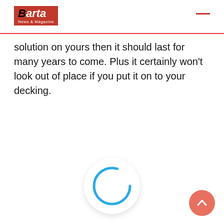Barta News & Magazine
solution on yours then it should last for many years to come. Plus it certainly won't look out of place if you put it on to your decking.
[Figure (other): Loading spinner: a circular blue ring on a white round button/card with drop shadow]
[Figure (other): Back-to-top button: salmon/coral pink circle with white upward arrow]